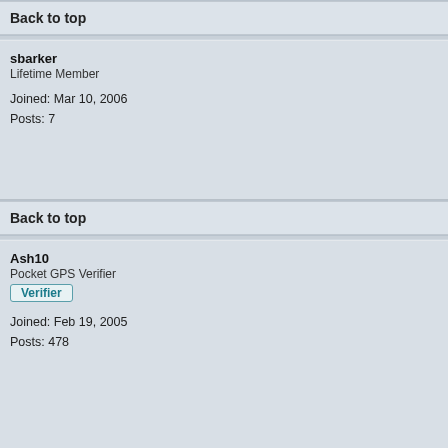Back to top
sbarker
Lifetime Member
Joined: Mar 10, 2006
Posts: 7
Back to top
Ash10
Pocket GPS Verifier
Verifier
Joined: Feb 19, 2005
Posts: 478
Back to top
sbarker
Lifetime Member
Joined: Mar 10, 2006
Posts: 7